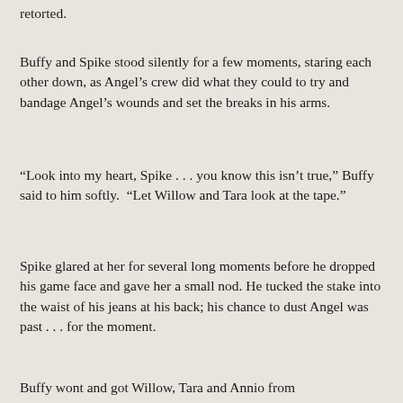retorted.
Buffy and Spike stood silently for a few moments, staring each other down, as Angel's crew did what they could to try and bandage Angel's wounds and set the breaks in his arms.
“Look into my heart, Spike . . . you know this isn’t true,” Buffy said to him softly.  “Let Willow and Tara look at the tape.”
Spike glared at her for several long moments before he dropped his game face and gave her a small nod. He tucked the stake into the waist of his jeans at his back; his chance to dust Angel was past . . . for the moment.
Buffy wont and got Willow, Tara and Annio from